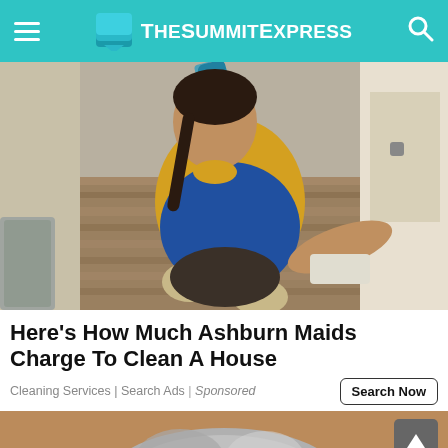TheSummitExpress
[Figure (photo): A woman in a yellow uniform scrubbing a hardwood floor on hands and knees in a home hallway.]
Here's How Much Ashburn Maids Charge To Clean A House
Cleaning Services | Search Ads | Sponsored
[Figure (photo): Partial view of an elderly person with grey hair, cropped at bottom of page.]